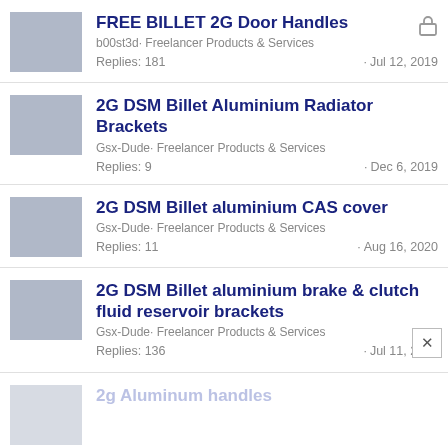FREE BILLET 2G Door Handles
b00st3d· Freelancer Products & Services
Replies: 181 · Jul 12, 2019
2G DSM Billet Aluminium Radiator Brackets
Gsx-Dude· Freelancer Products & Services
Replies: 9 · Dec 6, 2019
2G DSM Billet aluminium CAS cover
Gsx-Dude· Freelancer Products & Services
Replies: 11 · Aug 16, 2020
2G DSM Billet aluminium brake & clutch fluid reservoir brackets
Gsx-Dude· Freelancer Products & Services
Replies: 136 · Jul 11, 2021
2g Aluminum handles